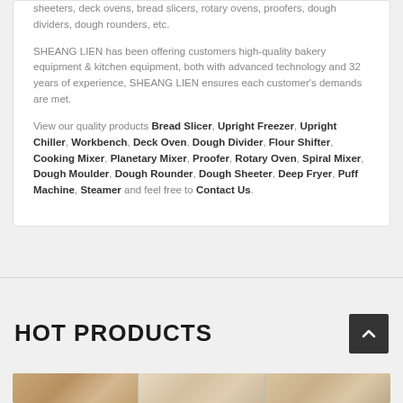sheeters, deck ovens, bread slicers, rotary ovens, proofers, dough dividers, dough rounders, etc.
SHEANG LIEN has been offering customers high-quality bakery equipment & kitchen equipment, both with advanced technology and 32 years of experience, SHEANG LIEN ensures each customer's demands are met.
View our quality products Bread Slicer, Upright Freezer, Upright Chiller, Workbench, Deck Oven, Dough Divider, Flour Shifter, Cooking Mixer, Planetary Mixer, Proofer, Rotary Oven, Spiral Mixer, Dough Moulder, Dough Rounder, Dough Sheeter, Deep Fryer, Puff Machine, Steamer and feel free to Contact Us.
HOT PRODUCTS
[Figure (photo): Strip of bakery product photos showing bread and pastries]